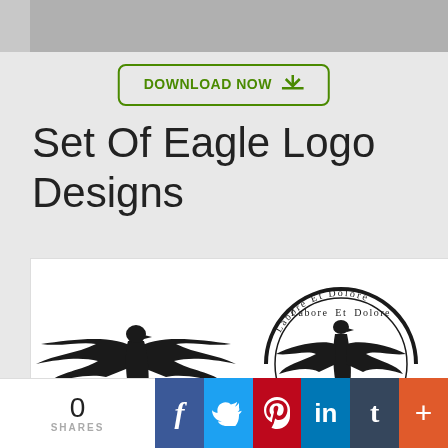[Figure (screenshot): Top gray image bar (cropped image preview)]
DOWNLOAD NOW ⬇
Set Of Eagle Logo Designs
[Figure (illustration): Set of four eagle logo designs on white background: top-left eagle with wings spread labeled VOLUPTATE VELIT ESSE; top-right circular eagle badge labeled Labore Et Dolore; bottom-left eagle with crescent labeled Sunt In Culpa; bottom-right eagle with banner labeled Minima Veniam]
[Figure (other): Social sharing bar with share count 0 SHARES, Facebook, Twitter, Pinterest, LinkedIn, Tumblr, and more buttons]